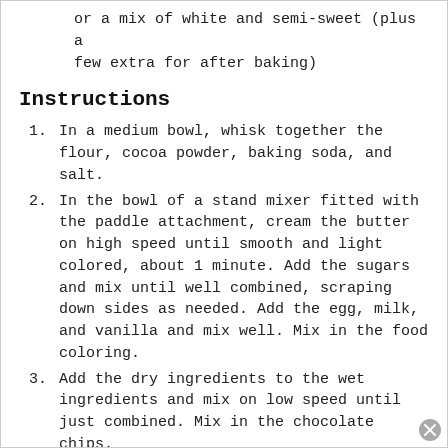or a mix of white and semi-sweet (plus a few extra for after baking)
Instructions
1. In a medium bowl, whisk together the flour, cocoa powder, baking soda, and salt.
2. In the bowl of a stand mixer fitted with the paddle attachment, cream the butter on high speed until smooth and light colored, about 1 minute. Add the sugars and mix until well combined, scraping down sides as needed. Add the egg, milk, and vanilla and mix well. Mix in the food coloring.
3. Add the dry ingredients to the wet ingredients and mix on low speed until just combined. Mix in the chocolate chips.
4. Cover the dough with plastic wrap and refrigerate for at least one hour.
5. Preheat oven to 350 degrees F. Line 2 baking sheets with a silicone mat or